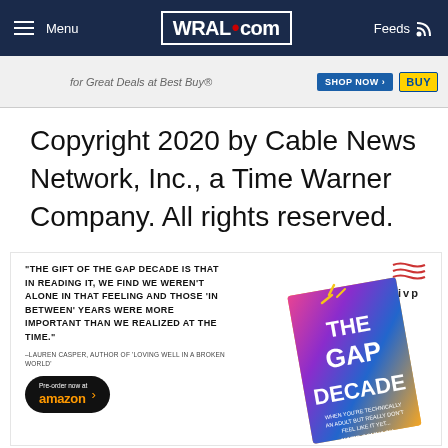Menu | WRAL.com | Feeds
[Figure (screenshot): Best Buy advertisement banner with 'for Great Deals at Best Buy' text, SHOP NOW button, and Best Buy logo]
Copyright 2020 by Cable News Network, Inc., a Time Warner Company. All rights reserved.
[Figure (illustration): IVP book advertisement for 'The Gap Decade' by Katie Schnack. Quote: 'The gift of the Gap Decade is that in reading it, we find we weren't alone in that feeling and those in between years were more important than we realized at the time.' Attribution: Lauren Casper, Author of 'Loving Well in a Broken World'. Pre-order now at Amazon button. Book cover image showing colorful illustration.]